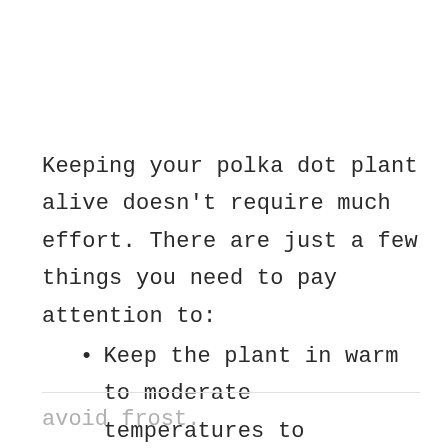Keeping your polka dot plant alive doesn't require much effort. There are just a few things you need to pay attention to:
Keep the plant in warm to moderate temperatures to
avoid frost.